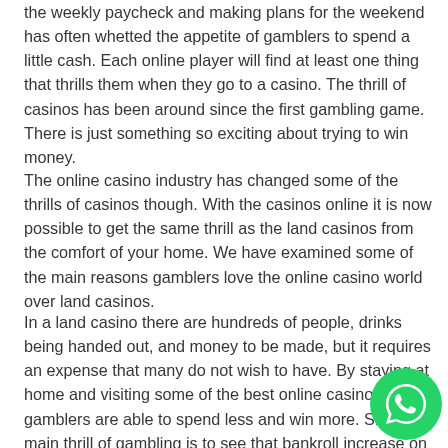the weekly paycheck and making plans for the weekend has often whetted the appetite of gamblers to spend a little cash. Each online player will find at least one thing that thrills them when they go to a casino. The thrill of casinos has been around since the first gambling game. There is just something so exciting about trying to win money.
The online casino industry has changed some of the thrills of casinos though. With the casinos online it is now possible to get the same thrill as the land casinos from the comfort of your home. We have examined some of the main reasons gamblers love the online casino world over land casinos.
In a land casino there are hundreds of people, drinks being handed out, and money to be made, but it requires an expense that many do not wish to have. By staying at home and visiting some of the best online casinos, gamblers are able to spend less and win more. Since the main thrill of gambling is to see that bankroll increase on a poker game,
[Figure (logo): WhatsApp floating button icon in green circle at bottom right]